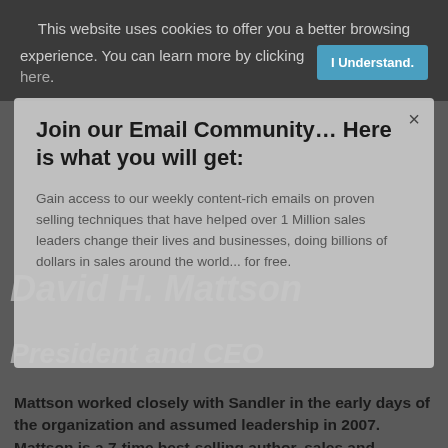This website uses cookies to offer you a better browsing experience. You can learn more by clicking here.
I Understand.
Join our Email Community… Here is what you will get:
Gain access to our weekly content-rich emails on proven selling techniques that have helped over 1 Million sales leaders change their lives and businesses, doing billions of dollars in sales around the world... for free.
David H. Mattson
President and CEO
Mattson worked closely with Sandler in the early days of the organization and assumed leadership in 2007. Mattson is a 7-time best-selling author, sales and management thought leader and keynote speaker around